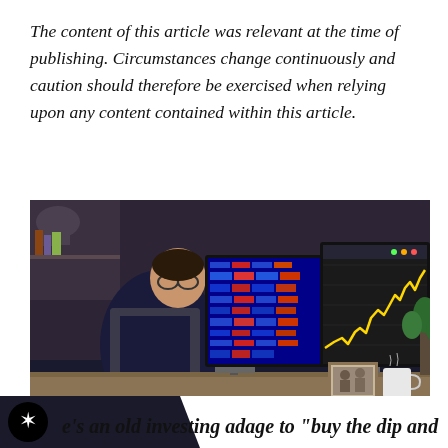The content of this article was relevant at the time of publishing. Circumstances change continuously and caution should therefore be exercised when relying upon any content contained within this article.
[Figure (photo): A person sitting at a desk viewed from behind, holding a smartphone, with two computer monitors showing financial stock market data and charts (one showing blue trading screen with price data, another showing a yellow/gold line chart trending upward). A framed photo and a coffee mug are visible on the desk. Low-light home office setting.]
Image source: Getty Images
e's an old investing adage to "buy the dip and